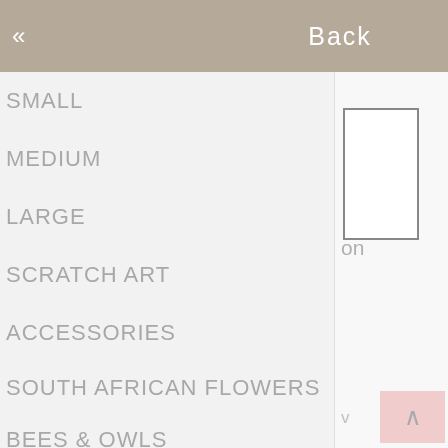Back
SMALL
MEDIUM
LARGE
SCRATCH ART
ACCESSORIES
SOUTH AFRICAN FLOWERS
BEES & OWLS
URE GOLD CHUNKY